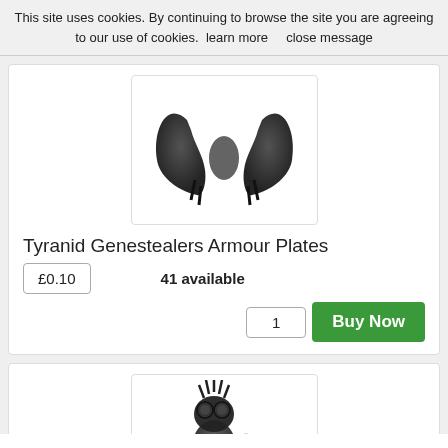This site uses cookies. By continuing to browse the site you are agreeing to our use of cookies.  learn more      close message
[Figure (photo): Product photo of Tyranid Genestealers Armour Plates — two black organic wing/plate shapes symmetrically placed]
Tyranid Genestealers Armour Plates
£0.10      41 available
1   Buy Now
[Figure (photo): Product photo of a Tyranid Genestealer creature — dark skeletal figure in crouching pose with large goggles/head]